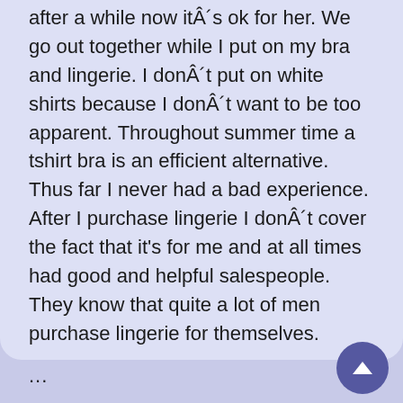after a while now itÂ´s ok for her. We go out together while I put on my bra and lingerie. I donÂ´t put on white shirts because I donÂ´t want to be too apparent. Throughout summer time a tshirt bra is an efficient alternative. Thus far I never had a bad experience. After I purchase lingerie I donÂ´t cover the fact that it's for me and at all times had good and helpful salespeople. They know that quite a lot of men purchase lingerie for themselves.
...
[Figure (other): A pink rounded button labeled FASHION SHOW]
[Figure (other): A dark purple circular scroll-up button with an upward arrow, positioned at bottom right]